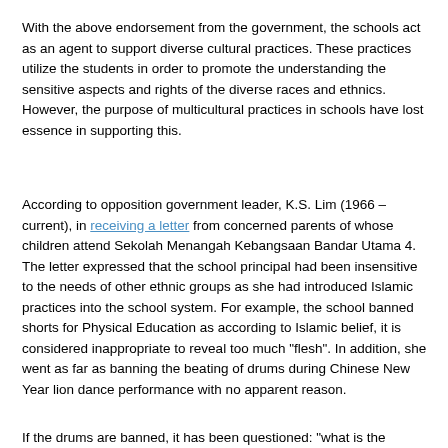With the above endorsement from the government, the schools act as an agent to support diverse cultural practices. These practices utilize the students in order to promote the understanding the sensitive aspects and rights of the diverse races and ethnics. However, the purpose of multicultural practices in schools have lost essence in supporting this.
According to opposition government leader, K.S. Lim (1966 – current), in receiving a letter from concerned parents of whose children attend Sekolah Menangah Kebangsaan Bandar Utama 4. The letter expressed that the school principal had been insensitive to the needs of other ethnic groups as she had introduced Islamic practices into the school system. For example, the school banned shorts for Physical Education as according to Islamic belief, it is considered inappropriate to reveal too much "flesh". In addition, she went as far as banning the beating of drums during Chinese New Year lion dance performance with no apparent reason.
If the drums are banned, it has been questioned: "what is the